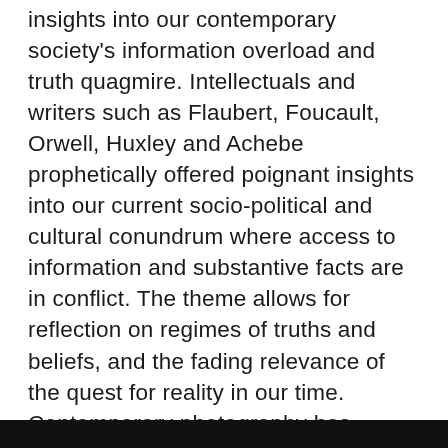insights into our contemporary society's information overload and truth quagmire. Intellectuals and writers such as Flaubert, Foucault, Orwell, Huxley and Achebe prophetically offered poignant insights into our current socio-political and cultural conundrum where access to information and substantive facts are in conflict. The theme allows for reflection on regimes of truths and beliefs, and the fading relevance of the quest for reality in our time. Contemporary photography has become the new repository of the fading quest for reality, not by virtue of its supposed freedom, but because it embodies the synthesis and unmasks the contradictions of fact and reality in society but also by its imperative for creativity. It is our point of intersection and the most documentation of